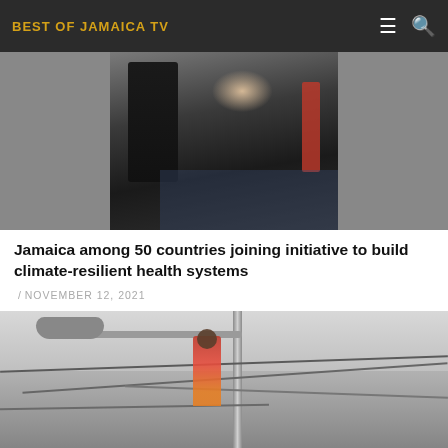BEST OF JAMAICA TV
[Figure (photo): Person in dark suit with raised hand in front of a banner, at what appears to be a climate or international summit event.]
Jamaica among 50 countries joining initiative to build climate-resilient health systems
/ NOVEMBER 12, 2021
[Figure (photo): Worker on a utility pole working with streetlight and electrical wires.]